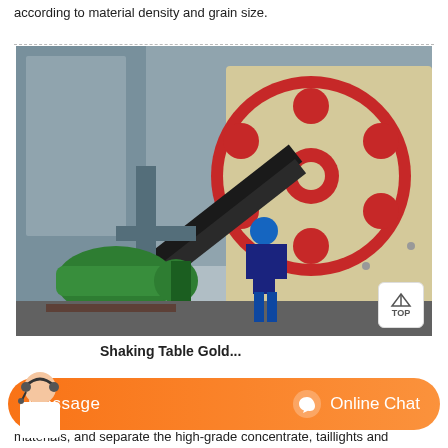according to material density and grain size.
[Figure (photo): Industrial jaw crusher machine with large flywheel/pulley, V-belts, electric motor (green), and a worker standing in front of the machinery in an industrial setting.]
Shaking Table Gold...
materials, and separate the high-grade concentrate, taillights and